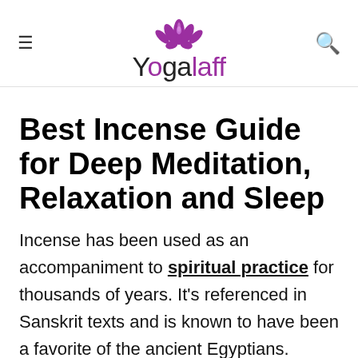Yogalaff
Best Incense Guide for Deep Meditation, Relaxation and Sleep
Incense has been used as an accompaniment to spiritual practice for thousands of years. It's referenced in Sanskrit texts and is known to have been a favorite of the ancient Egyptians.